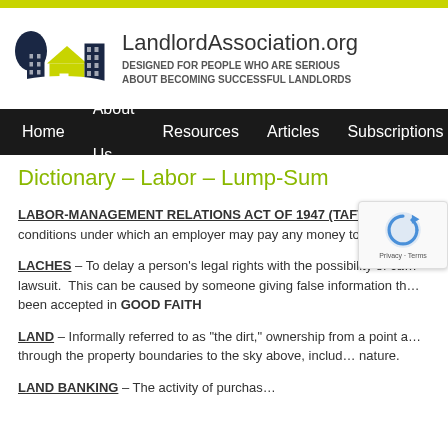[Figure (logo): LandlordAssociation.org logo with tree and building icons in dark navy/green/yellow, site name and tagline]
Home  About Us  Resources  Articles  Subscriptions
Dictionary – Labor – Lump-Sum
LABOR-MANAGEMENT RELATIONS ACT OF 1947 (TAFT-HART... conditions under which an employer may pay any money to a repres...
LACHES – To delay a person's legal rights with the possibility of ca... lawsuit. This can be caused by someone giving false information th... been accepted in GOOD FAITH
LAND – Informally referred to as "the dirt," ownership from a point a... through the property boundaries to the sky above, includ... nature.
LAND BANKING – The activity of purchasing LAND th...